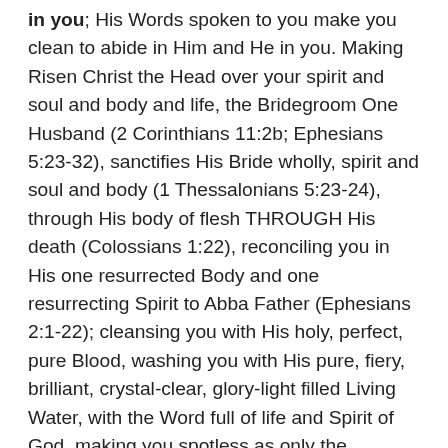in you; His Words spoken to you make you clean to abide in Him and He in you. Making Risen Christ the Head over your spirit and soul and body and life, the Bridegroom One Husband (2 Corinthians 11:2b; Ephesians 5:23-32), sanctifies His Bride wholly, spirit and soul and body (1 Thessalonians 5:23-24), through His body of flesh THROUGH His death (Colossians 1:22), reconciling you in His one resurrected Body and one resurrecting Spirit to Abba Father (Ephesians 2:1-22); cleansing you with His holy, perfect, pure Blood, washing you with His pure, fiery, brilliant, crystal-clear, glory-light filled Living Water, with the Word full of life and Spirit of God, making you spotless as only the Bridegroom can His redeemed, pure Bride; nourishing and cherishing you; joining you to HIMSELF; making “two” “one” in the Blood, Water, and Spirit; the profound mystery FOUND in Christ; praising and